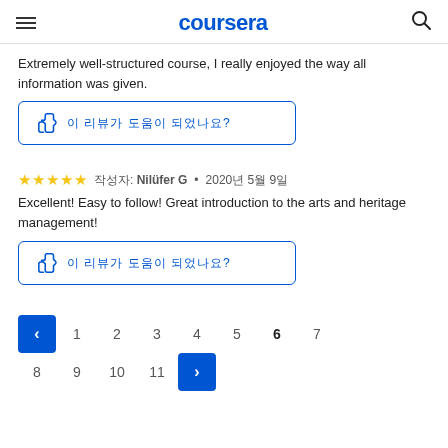coursera
Extremely well-structured course, I really enjoyed the way all information was given.
이 리뷰가 도움이 되었나요?
★★★★★  작성자: Nilüfer G  •  2020년 5월 9일
Excellent! Easy to follow! Great introduction to the arts and heritage management!
이 리뷰가 도움이 되었나요?
< 1 2 3 4 5 6 7  8 9 10 11 >